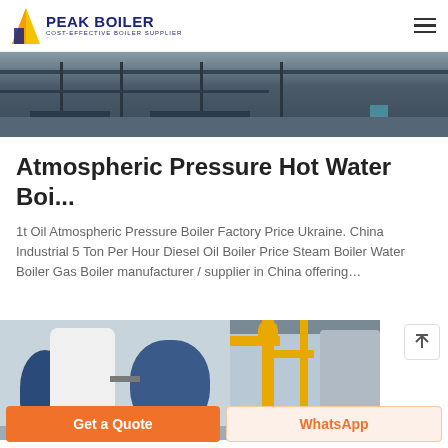PEAK BOILER - COST-EFFECTIVE BOILER SUPPLIER
[Figure (photo): Cropped photo of industrial factory interior with steel structural beams and construction materials]
Atmospheric Pressure Hot Water Boi...
1t Oil Atmospheric Pressure Boiler Factory Price Ukraine. China Industrial 5 Ton Per Hour Diesel Oil Boiler Price Steam Boiler Water Boiler Gas Boiler manufacturer / supplier in China offering…
[Figure (photo): Industrial boiler room showing white cylindrical boiler with blue burner on left, yellow gas pipes in center, and large cylindrical boiler tank on right]
Get a Quote
WhatsApp